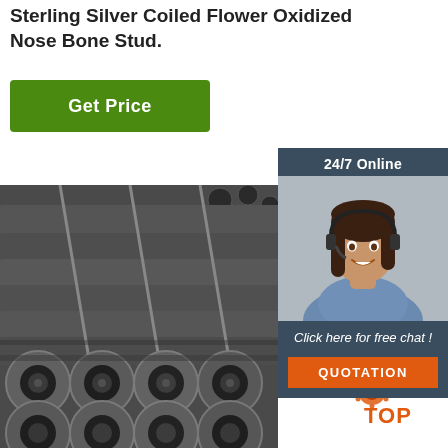Sterling Silver Coiled Flower Oxidized Nose Bone Stud.
[Figure (other): Green 'Get Price' button]
[Figure (other): 24/7 Online customer support panel with agent photo, 'Click here for free chat!' text, and orange QUOTATION button]
[Figure (photo): Bundle of large steel pipes/tubes stacked together, showing circular cross-sections in foreground]
[Figure (logo): TOP logo with orange gear/circle icon in bottom right corner]